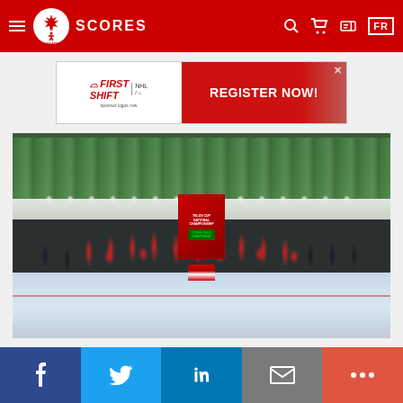Hockey Canada — SCORES
[Figure (photo): Hockey Canada website navigation bar with hamburger menu, Hockey Canada logo, SCORES text, search icon, cart icon, ticket icon, and FR language toggle on red background]
[Figure (photo): Advertisement banner: First Shift / NHL / Hockey Canada logo on left, red background with REGISTER NOW! text and hockey player image on right, X close button]
[Figure (photo): Group championship photo of a hockey team posing on ice rink after winning the Telus Cup National Championship. Players in red and black jerseys with white helmets, coaches in suits, holding a banner/sign. Green arena seats visible in background.]
Social share bar: Facebook, Twitter, LinkedIn, Email, More